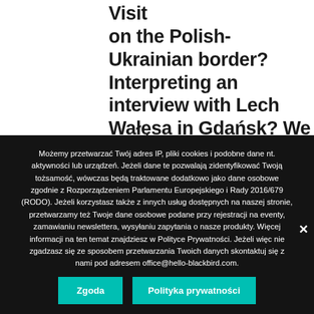Multilingual conference in Rome? Visit on the Polish-Ukrainian border? Interpreting an interview with Lech Wałęsa in Gdańsk? We have it all in our portfolio.
Możemy przetwarzać Twój adres IP, pliki cookies i podobne dane nt. aktywności lub urządzeń. Jeżeli dane te pozwalają zidentyfikować Twoją tożsamość, wówczas będą traktowane dodatkowo jako dane osobowe zgodnie z Rozporządzeniem Parlamentu Europejskiego i Rady 2016/679 (RODO). Jeżeli korzystasz także z innych usług dostępnych na naszej stronie, przetwarzamy też Twoje dane osobowe podane przy rejestracji na eventy, zamawianiu newslettera, wysyłaniu zapytania o nasze produkty. Więcej informacji na ten temat znajdziesz w Polityce Prywatności. Jeżeli więc nie zgadzasz się ze sposobem przetwarzania Twoich danych skontaktuj się z nami pod adresem office@hello-blackbird.com.
Zgoda
Polityka prywatności